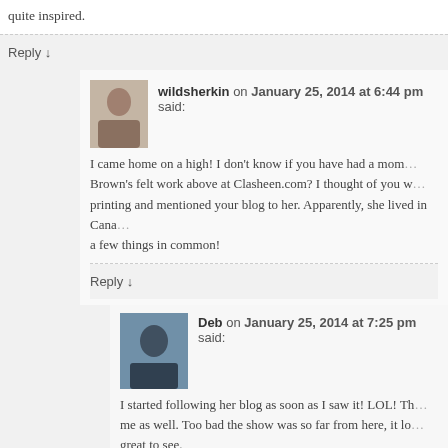quite inspired.
Reply ↓
wildsherkin on January 25, 2014 at 6:44 pm said:
I came home on a high! I don't know if you have had a mom... Brown's felt work above at Clasheen.com? I thought of you w... printing and mentioned your blog to her. Apparently, she lived in Cana... a few things in common!
Reply ↓
Deb on January 25, 2014 at 7:25 pm said:
I started following her blog as soon as I saw it! LOL! Th... me as well. Too bad the show was so far from here, it lo... great to see.
wildsherkin on January 25, 2014 at 7:31 pm said:
That's great!! I see that she is planning some ever...